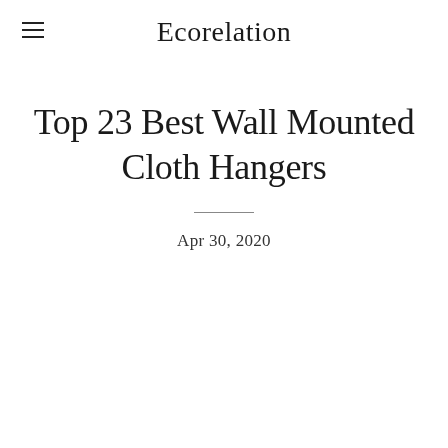Ecorelation
Top 23 Best Wall Mounted Cloth Hangers
Apr 30, 2020